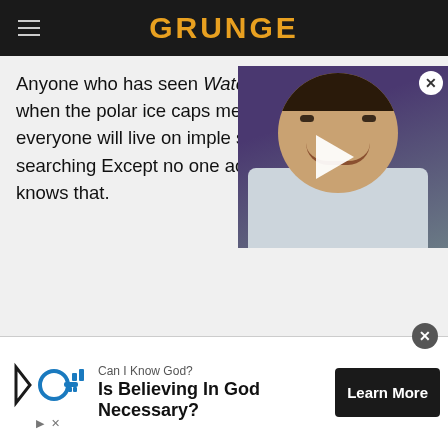GRUNGE
Anyone who has seen Waterworld knows that when the polar ice caps melt the world w... and everyone will live on imple... spend all their time searching... Except no one actually saw tha... one knows that.
[Figure (photo): Video overlay showing a smiling man with dark hair against a purple background, with a play button triangle in the center and a close X button in the top right.]
[Figure (infographic): Advertisement banner: Can I Know God? Is Believing In God Necessary? Learn More button. Features a key/target icon on the left.]